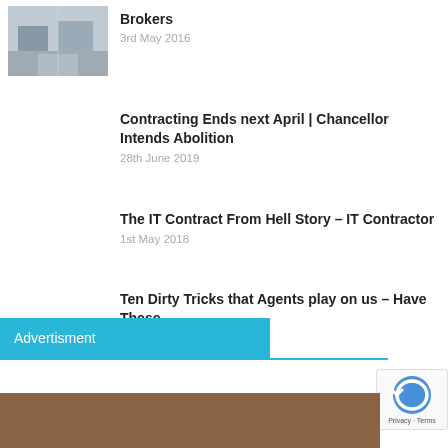[Figure (photo): Thumbnail image of a road/street scene with buildings]
Brokers
3rd May 2016
Contracting Ends next April | Chancellor Intends Abolition
28th June 2019
The IT Contract From Hell Story – IT Contractor
1st May 2018
Ten Dirty Tricks that Agents play on us – Have These...
16th November 2015
Advertisment
[Figure (logo): reCAPTCHA logo with Privacy and Terms links]